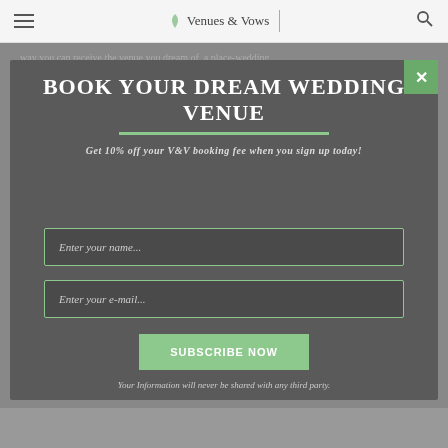Venues & Vows
way you can receive the venue you dream of, a place-wedding dreams!
BOOK YOUR DREAM WEDDING VENUE
Get 10% off your V&V booking fee when you sign up today!
Enter your name...
Enter your e-mail...
SUBSCRIBE NOW
Your Information will never be shared with any third party.